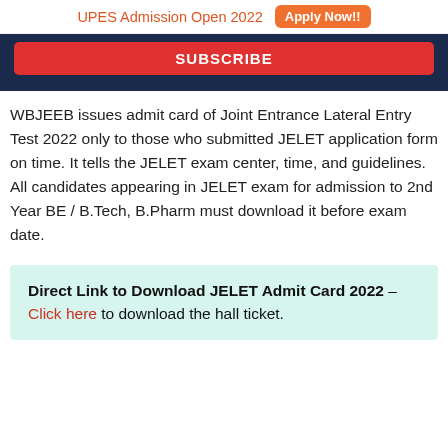UPES Admission Open 2022   Apply Now!!
[Figure (screenshot): Dark navy subscribe block with a red SUBSCRIBE button]
WBJEEB issues admit card of Joint Entrance Lateral Entry Test 2022 only to those who submitted JELET application form on time. It tells the JELET exam center, time, and guidelines. All candidates appearing in JELET exam for admission to 2nd Year BE / B.Tech, B.Pharm must download it before exam date.
Direct Link to Download JELET Admit Card 2022 – Click here to download the hall ticket.